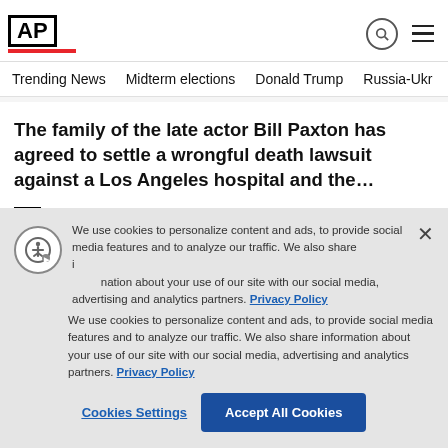AP
Trending News
Midterm elections
Donald Trump
Russia-Ukr
The family of the late actor Bill Paxton has agreed to settle a wrongful death lawsuit against a Los Angeles hospital and the…
AP  Yesterday
Ad Content
[Figure (photo): Partial image strip showing skin tones against dark background]
We use cookies to personalize content and ads, to provide social media features and to analyze our traffic. We also share information about your use of our site with our social media, advertising and analytics partners. Privacy Policy
Cookies Settings  Accept All Cookies